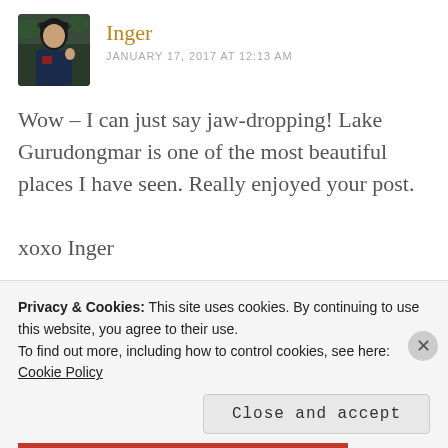[Figure (photo): Avatar photo of Inger, a person outdoors wearing dark clothing and a hat]
Inger
JANUARY 17, 2017 AT 12:13 AM
Wow – I can just say jaw-dropping! Lake Gurudongmar is one of the most beautiful places I have seen. Really enjoyed your post.

xoxo Inger
★ Liked by 1 person
REPLY
Privacy & Cookies: This site uses cookies. By continuing to use this website, you agree to their use.
To find out more, including how to control cookies, see here:
Cookie Policy
Close and accept